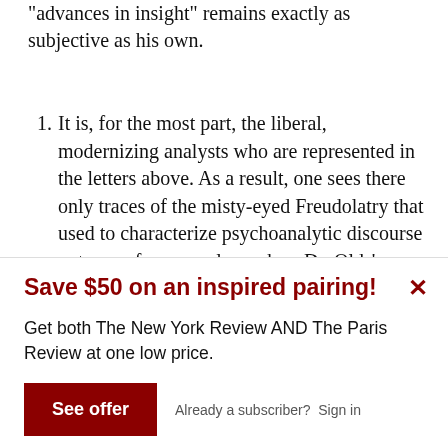“advances in insight” remains exactly as subjective as his own.
It is, for the most part, the liberal, modernizing analysts who are represented in the letters above. As a result, one sees there only traces of the misty-eyed Freudolatry that used to characterize psychoanalytic discourse—traces, for example, such as Dr. Olds’s likening of Freud…
Save $50 on an inspired pairing!
Get both The New York Review AND The Paris Review at one low price.
See offer
Already a subscriber?  Sign in